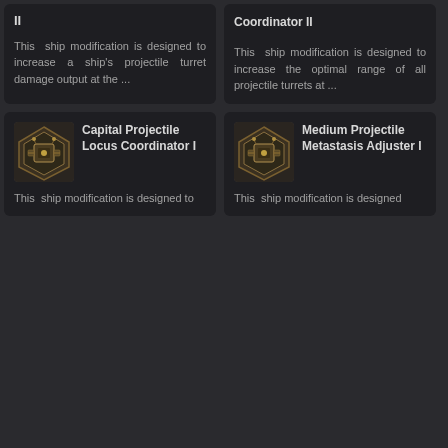II
This ship modification is designed to increase a ship's projectile turret damage output at the ...
Coordinator II
This ship modification is designed to increase the optimal range of all projectile turrets at ...
[Figure (illustration): Game item icon: golden mechanical module on dark background]
Capital Projectile Locus Coordinator I
This ship modification is designed to
[Figure (illustration): Game item icon: golden mechanical module on dark background]
Medium Projectile Metastasis Adjuster I
This ship modification is designed